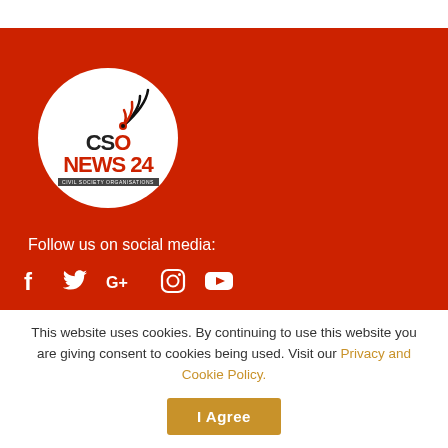[Figure (logo): CSO News 24 logo - white circle on red background containing 'CSO NEWS 24 CIVIL SOCIETY ORGANISATIONS' text with signal/wifi arc graphic]
Follow us on social media:
[Figure (illustration): Social media icons: Facebook, Twitter, Google+, Instagram, YouTube - white icons on red background]
This website uses cookies. By continuing to use this website you are giving consent to cookies being used. Visit our Privacy and Cookie Policy.
I Agree